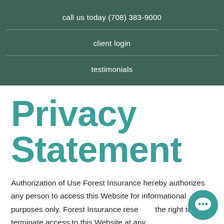call us today (708) 383-9000
client login
testimonials
Privacy Statement
Authorization of Use Forest Insurance hereby authorizes any person to access this Website for informational purposes only. Forest Insurance reserves the right to terminate access to this Website at any